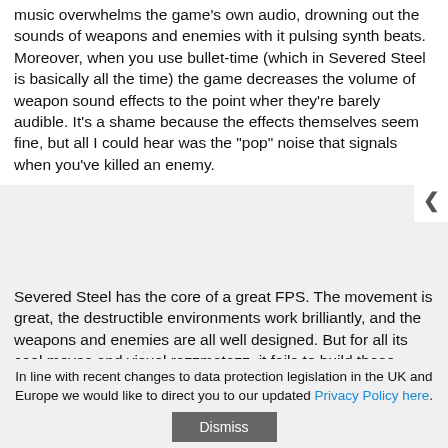music overwhelms the game's own audio, drowning out the sounds of weapons and enemies with it pulsing synth beats. Moreover, when you use bullet-time (which in Severed Steel is basically all the time) the game decreases the volume of weapon sound effects to the point wher they're barely audible. It's a shame because the effects themselves seem fine, but all I could hear was the "pop" noise that signals when you've killed an enemy.
Severed Steel has the core of a great FPS. The movement is great, the destructible environments work brilliantly, and the weapons and enemies are all well designed. But for all its cool moves and visual razzmatazz, it fails to build these components into a meaningful experience.
[Figure (photo): Screenshot from Severed Steel game showing colorful neon laser beams and action scene with blue and orange lighting effects]
In line with recent changes to data protection legislation in the UK and Europe we would like to direct you to our updated Privacy Policy here.